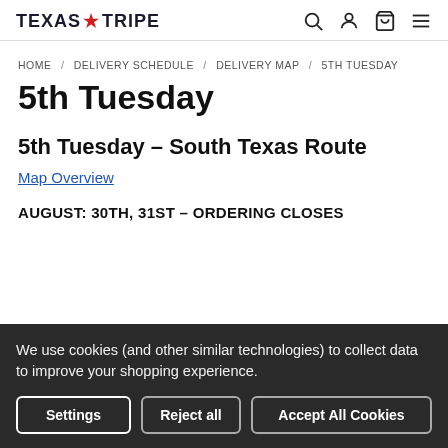TEXAS TRIPE
HOME / DELIVERY SCHEDULE / DELIVERY MAP / 5TH TUESDAY
5th Tuesday
5th Tuesday – South Texas Route
Map Overview
AUGUST: 30TH, 31ST – ORDERING CLOSES AUGUST 29TH
We use cookies (and other similar technologies) to collect data to improve your shopping experience.
Settings | Reject all | Accept All Cookies